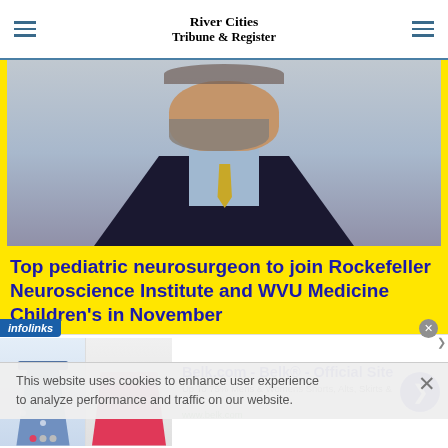River Cities Tribune & Register
[Figure (photo): Partial photo of a man in a dark suit with a beard, shown from chin to chest level against a light blue background]
Top pediatric neurosurgeon to join Rockefeller Neuroscience Institute and WVU Medicine Children's in November
MORGANTOWN, W.Va. — P. David Adelson, M.D., F.A.C.S, F.A.A.P., an internationally recognized pediatric
This website uses cookies to enhance user experience to analyze performance and traffic on our website.
[Figure (infographic): Infolinks advertisement banner for Belk.com showing clothing items (floral dress and red skirt) with text: Belk.com - Belk® - Official Site, Up To 75% Mens & Womens Shorts, Alts, Skirts & Swim, www.belk.com]